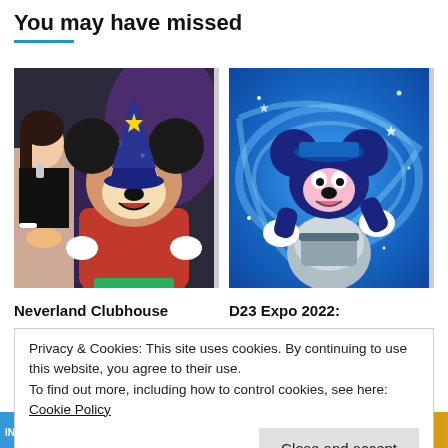You may have missed
[Figure (photo): Photo of a woman posing with Mickey Mouse in a sorcerer hat and red robe costume]
[Figure (illustration): Illustrated/animated Mickey Mouse in silver/blue 100th anniversary outfit against a glowing blue background]
Neverland Clubhouse
D23 Expo 2022:
Privacy & Cookies: This site uses cookies. By continuing to use this website, you agree to their use.
To find out more, including how to control cookies, see here: Cookie Policy
Close and accept
[Figure (illustration): Partial bottom strip showing colorful cartoon/comic art on the left and an orange/yellow scene on the right]